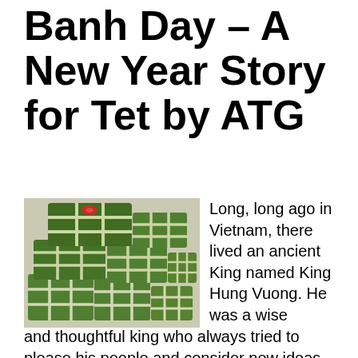Banh Day – A New Year Story for Tet by ATG
[Figure (photo): Stack of green banh chung (Vietnamese rice cakes) wrapped in banana leaves and tied with white string, with a red ribbon on top]
Long, long ago in Vietnam, there lived an ancient King named King Hung Vuong. He was a wise and thoughtful king who always tried to please his people and consider new ideas, and because